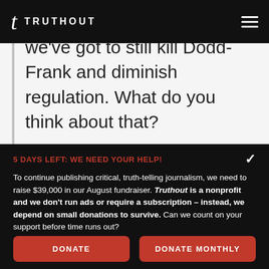TRUTHOUT
we've got to still kill Dodd-Frank and diminish regulation. What do you think about that?
5 DAYS LEFT: WE NEED YOUR HELP!
To continue publishing critical, truth-telling journalism, we need to raise $39,000 in our August fundraiser. Truthout is a nonprofit and we don't run ads or require a subscription – instead, we depend on small donations to survive. Can we count on your support before time runs out?
DONATE
DONATE MONTHLY